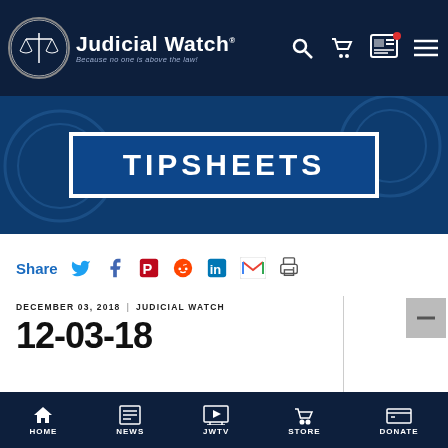Judicial Watch — Because no one is above the law!
[Figure (screenshot): Judicial Watch logo: circular seal with scales of justice]
TIPSHEETS
Share
DECEMBER 03, 2018 | JUDICIAL WATCH
12-03-18
[Figure (photo): Red background with spiral notebook pages — tipsheet article image]
HOME  NEWS  JWTV  STORE  DONATE